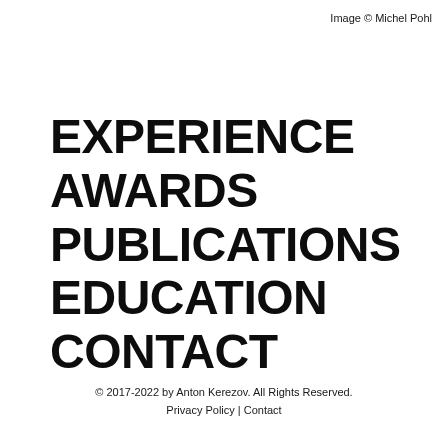Image © Michel Pohl
EXPERIENCE
AWARDS
PUBLICATIONS
EDUCATION
CONTACT
© 2017-2022 by Anton Kerezov. All Rights Reserved.
Privacy Policy | Contact